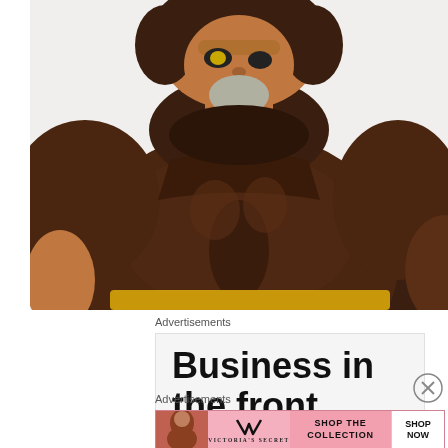[Figure (photo): Close-up photo of a muscular action figure toy wearing a dark brown costume with broad chest and shoulders, visible head with gray beard and yellow eye piece, and orange/yellow elements at the waist.]
Advertisements
[Figure (infographic): Advertisement block with large bold text reading 'Business in the front...' on a light gray background.]
Advertisements
[Figure (infographic): Victoria's Secret banner advertisement with VS logo, text 'SHOP THE COLLECTION' and a 'SHOP NOW' button on a pink background, with a model's photo on the left.]